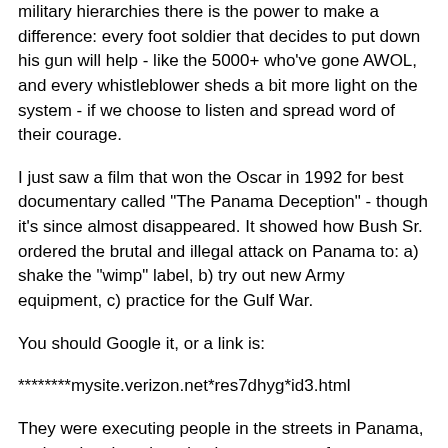military hierarchies there is the power to make a difference: every foot soldier that decides to put down his gun will help - like the 5000+ who've gone AWOL, and every whistleblower sheds a bit more light on the system - if we choose to listen and spread word of their courage.
I just saw a film that won the Oscar in 1992 for best documentary called "The Panama Deception" - though it's since almost disappeared. It showed how Bush Sr. ordered the brutal and illegal attack on Panama to: a) shake the "wimp" label, b) try out new Army equipment, c) practice for the Gulf War.
You should Google it, or a link is:
********mysite.verizon.net*res7dhyg*id3.html
They were executing people in the streets in Panama, and putting them into detainment camps for no reason - this was a highly populated area they'd carpet-bombed for 4 hours. Once people were in the camps - with a few soldiers and civilians randomly executed, they proceeded to burn down